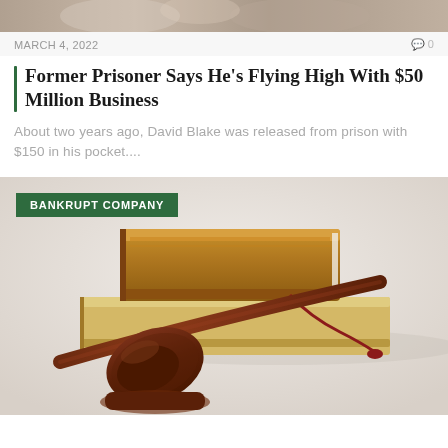[Figure (photo): Top portion of a news article showing people in background, partially cropped]
MARCH 4, 2022   🗨 0
Former Prisoner Says He's Flying High With $50 Million Business
About two years ago, David Blake was released from prison with $150 in his pocket....
[Figure (photo): Photo of a judge's gavel resting on law books with a red tassel bookmark, on a light background. Green label overlay reading BANKRUPT COMPANY.]